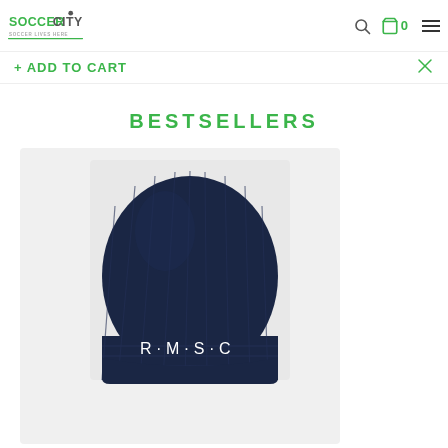SoccerCity - Soccer Lives Here
+ ADD TO CART
BESTSELLERS
[Figure (photo): Navy blue knit beanie hat with R·M·S·C embroidered text on the front, displayed on a light grey/white background.]